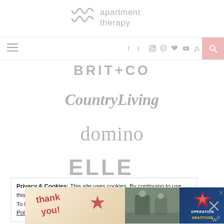[Figure (logo): Apartment Therapy logo with squiggle mark and text]
[Figure (infographic): Navigation bar with hamburger menu, social icons (facebook, twitter, instagram, pinterest, heart, youtube, rss), and pink search button]
BRIT+CO
CountryLiving
domino
ELLE
Privacy & Cookies: This site uses cookies. By continuing to use this website, you agree to their use.
To find out more, including how to control cookies, see here: Privacy Policy
[Figure (photo): Advertisement banner: Thank you Operation Gratitude with military imagery]